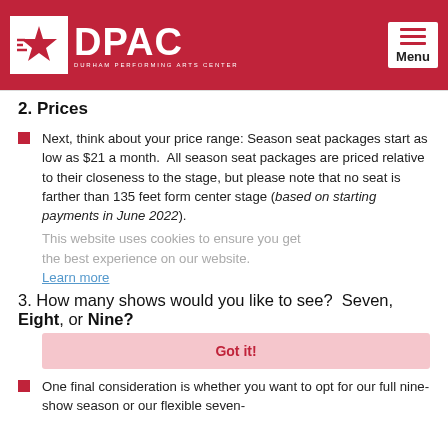DPAC - Durham Performing Arts Center | Menu
2. Prices
Next, think about your price range: Season seat packages start as low as $21 a month.  All season seat packages are priced relative to their closeness to the stage, but please note that no seat is farther than 135 feet form center stage (based on starting payments in June 2022).
This website uses cookies to ensure you get the best experience on our website. Learn more
3. How many shows would you like to see?  Seven, Eight, or Nine?
Got it!
One final consideration is whether you want to opt for our full nine-show season or our flexible seven-